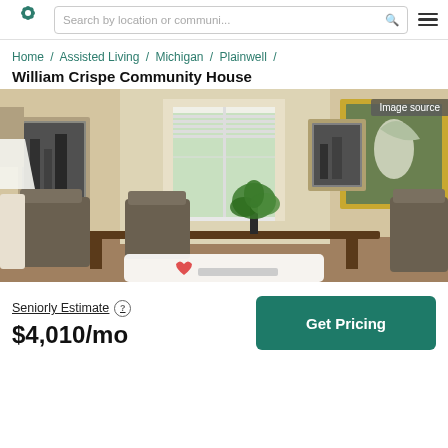Search by location or communi...
Home / Assisted Living / Michigan / Plainwell / William Crispe Community House
William Crispe Community House
[Figure (photo): Interior room photo of William Crispe Community House showing a dining/sitting area with upholstered chairs, a plant, framed artwork on warm beige walls, and a window with blinds letting in natural light.]
Seniorly Estimate
$4,010/mo
Get Pricing